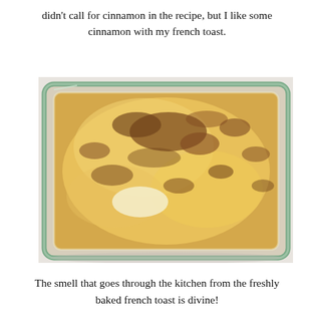didn't call for cinnamon in the recipe, but I like some cinnamon with my french toast.
[Figure (photo): A glass baking dish containing baked french toast with cinnamon brown spots on a golden egg-soaked bread surface, viewed from above at a slight angle on a white surface.]
The smell that goes through the kitchen from the freshly baked french toast is divine!